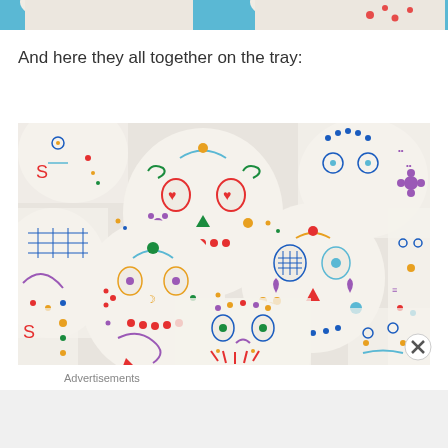[Figure (photo): Partial top view of decorated sugar skull cookies on a blue tray background, cropped at the top of the page]
And here they all together on the tray:
[Figure (photo): A tray full of colorful Day of the Dead sugar skull shaped cookies decorated with bright icing in red, blue, green, orange, yellow and purple patterns including flowers, hearts, swirls and geometric designs on white backgrounds]
Advertisements